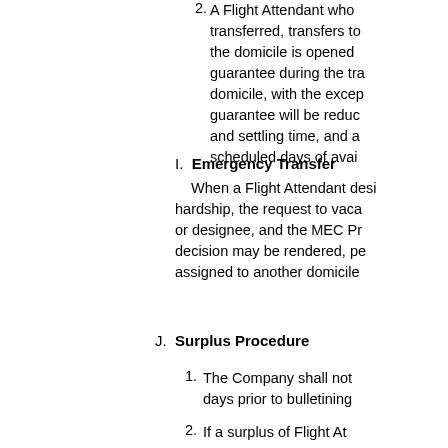2. A Flight Attendant who transferred, transfers to the domicile is opened guarantee during the tra domicile, with the excep guarantee will be reduc and settling time, and a scheduled days of avai
I. Emergency Transfer When a Flight Attendant desi hardship, the request to vaca or designee, and the MEC Pr decision may be rendered, pe assigned to another domicile
J. Surplus Procedure
1. The Company shall not days prior to bulletining
2. If a surplus of Flight At